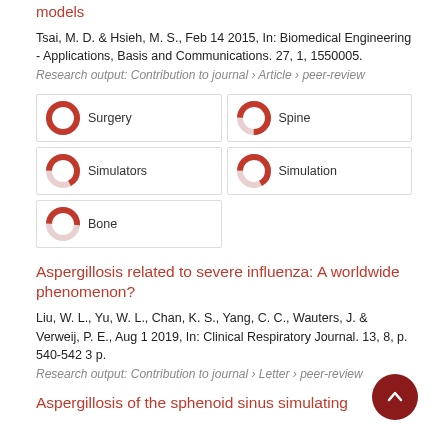models
Tsai, M. D. & Hsieh, M. S., Feb 14 2015, In: Biomedical Engineering - Applications, Basis and Communications. 27, 1, 1550005.
Research output: Contribution to journal › Article › peer-review
[Figure (infographic): Keyword badges with donut-style percentage indicators: Surgery 100%, Spine 75%, Simulators 67%, Simulation 67%, Bone 51%]
Aspergillosis related to severe influenza: A worldwide phenomenon?
Liu, W. L., Yu, W. L., Chan, K. S., Yang, C. C., Wauters, J. & Verweij, P. E., Aug 1 2019, In: Clinical Respiratory Journal. 13, 8, p. 540-542 3 p.
Research output: Contribution to journal › Letter › peer-review
Aspergillosis of the sphenoid sinus simulating